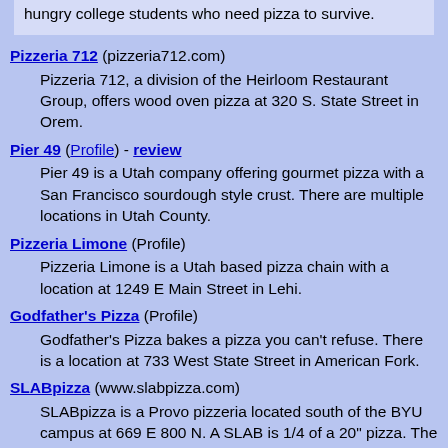hungry college students who need pizza to survive.
Pizzeria 712 (pizzeria712.com) — Pizzeria 712, a division of the Heirloom Restaurant Group, offers wood oven pizza at 320 S. State Street in Orem.
Pier 49 (Profile) - review — Pier 49 is a Utah company offering gourmet pizza with a San Francisco sourdough style crust. There are multiple locations in Utah County.
Pizzeria Limone (Profile) — Pizzeria Limone is a Utah based pizza chain with a location at 1249 E Main Street in Lehi.
Godfather's Pizza (Profile) — Godfather's Pizza bakes a pizza you can't refuse. There is a location at 733 West State Street in American Fork.
SLABpizza (www.slabpizza.com) — SLABpizza is a Provo pizzeria located south of the BYU campus at 669 E 800 N. A SLAB is 1/4 of a 20" pizza. The menu is simple and reasonably priced. Xlent pizza!
5 Buck Pizza (Profile) — 5 Buck Pizza is a Utah owned chain of pizza